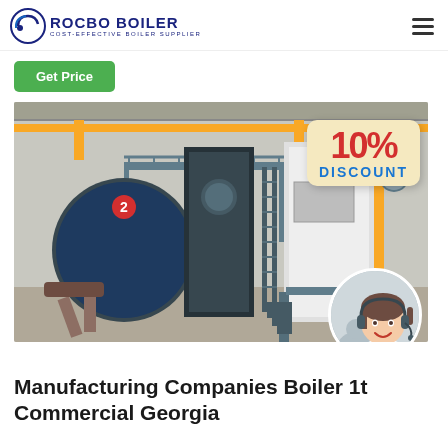ROCBO BOILER – COST-EFFECTIVE BOILER SUPPLIER
Get Price
[Figure (photo): Industrial boiler facility showing large blue cylindrical boilers in a warehouse with yellow overhead cranes. A 10% DISCOUNT badge overlays the top-right corner of the image, and a circular portrait of a smiling customer service representative with a headset appears at the bottom-right.]
Manufacturing Companies Boiler 1t Commercial Georgia